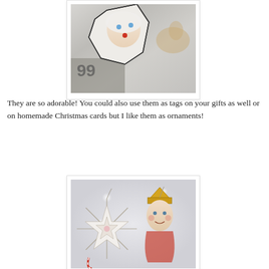[Figure (photo): Close-up photo of a vintage Santa Claus ornament cutout with blue eyes and red nose, lying on crinkled silver/metallic paper with partial newspaper visible underneath.]
They are so adorable! You could also use them as tags on your gifts as well or on homemade Christmas cards but I like them as ornaments!
[Figure (photo): Photo of Christmas ornaments arranged on a light grey background with sparkle effects — a star-shaped wire ornament on the left and a vintage elf/Santa face ornament on the right.]